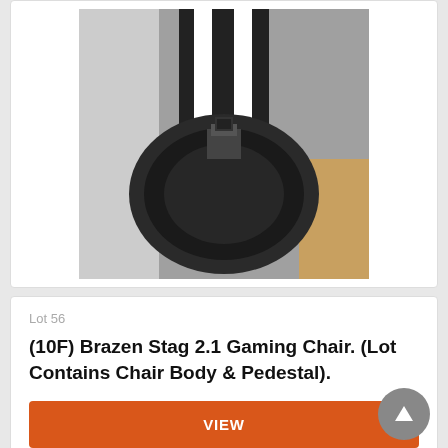[Figure (photo): Top-down view of a black circular gaming chair pedestal with white stripe detail on the backrest, viewed from above on a concrete floor]
Lot 56
(10F) Brazen Stag 2.1 Gaming Chair. (Lot Contains Chair Body & Pedestal).
VIEW
Lot closed
Lot location: Goole
[Figure (photo): XRocker gaming chair, black with white accents, viewed from the front, partially visible at bottom of page]